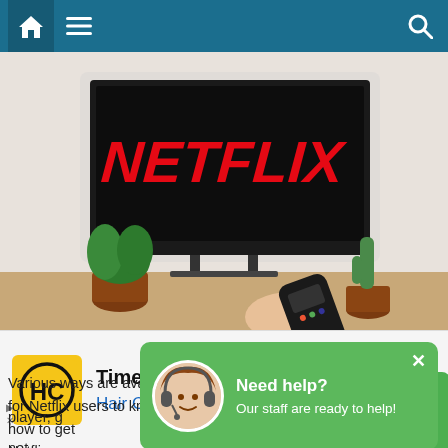[Figure (screenshot): Website screenshot showing a Netflix article page with navigation bar, Netflix TV image, a green chat help popup overlay, and an advertisement for Hair Cuttery at the bottom.]
Various ways are available for Netflix users to know how to get Netflix on TV, Blu-ray player, g... joined to the inet, ... sue. You
[Figure (other): Green chat popup with avatar: Need help? Our staff are ready to help!]
Time For a Trim?
Hair Cuttery